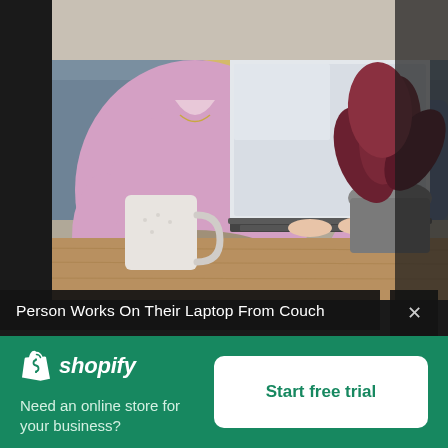[Figure (photo): Person in pink sweater working on a laptop from a couch, with a coffee mug on a wooden table in the foreground and a plant in the background.]
Person Works On Their Laptop From Couch
[Figure (logo): Shopify logo — shopping bag icon with 'shopify' in white italic text]
Need an online store for your business?
Start free trial